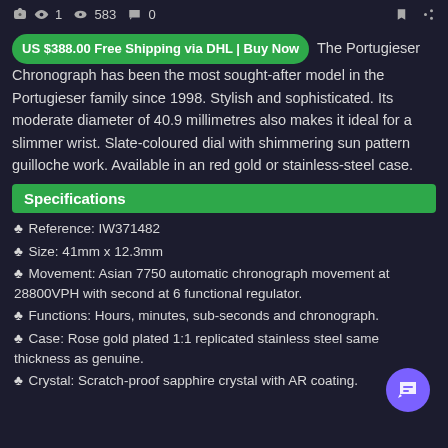👍1  👁583  💬0
US $388.00 Free Shipping via DHL | Buy Now  The Portugieser Chronograph has been the most sought-after model in the Portugieser family since 1998. Stylish and sophisticated. Its moderate diameter of 40.9 millimetres also makes it ideal for a slimmer wrist. Slate-coloured dial with shimmering sun pattern guilloche work. Available in an red gold or stainless-steel case.
Specifications
♣ Reference: IW371482
♣ Size: 41mm x 12.3mm
♣ Movement: Asian 7750 automatic chronograph movement at 28800VPH with second at 6 functional regulator.
♣ Functions: Hours, minutes, sub-seconds and chronograph.
♣ Case: Rose gold plated 1:1 replicated stainless steel same thickness as genuine.
♣ Crystal: Scratch-proof sapphire crystal with AR coating.